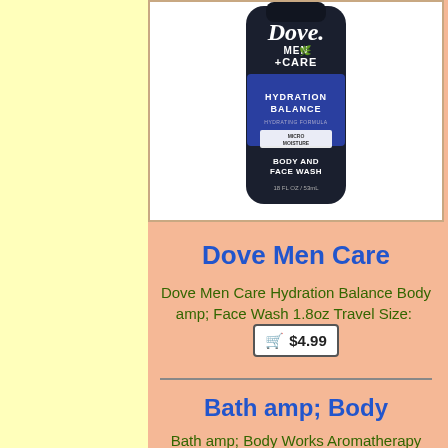[Figure (photo): Dove Men+Care Hydration Balance Body and Face Wash bottle, dark navy blue, 1.8 fl oz travel size]
Dove Men Care
Dove Men Care Hydration Balance Body amp; Face Wash 1.8oz Travel Size: $4.99
Bath amp; Body
Bath amp; Body Works Aromatherapy Sleep